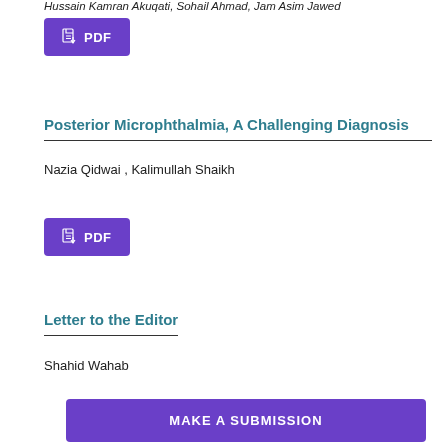Hussain Kamran Akuqati, Sohail Ahmad, Jam Asim Jawed
[Figure (other): PDF download button (purple)]
Posterior Microphthalmia, A Challenging Diagnosis
Nazia Qidwai , Kalimullah Shaikh
[Figure (other): PDF download button (purple)]
Letter to the Editor
Shahid Wahab
[Figure (other): MAKE A SUBMISSION button (purple)]